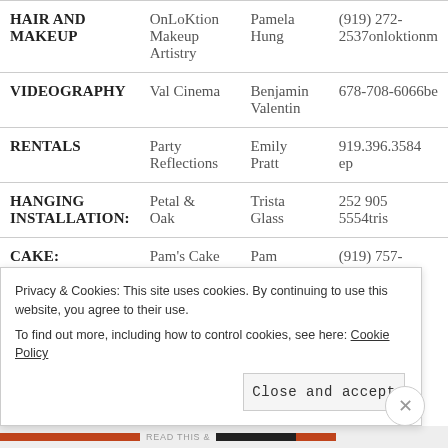| Category | Vendor | Contact | Info |
| --- | --- | --- | --- |
| HAIR AND MAKEUP | OnLoKtion Makeup Artistry | Pamela Hung | (919) 272-2537onloktionm |
| VIDEOGRAPHY | Val Cinema | Benjamin Valentin | 678-708-6066be |
| RENTALS | Party Reflections | Emily Pratt | 919.396.3584 ep |
| HANGING INSTALLATION: | Petal & Oak | Trista Glass | 252 905 5554tris |
| CAKE: | Pam's Cake | Pam | (919) 757-1659p |
Privacy & Cookies: This site uses cookies. By continuing to use this website, you agree to their use. To find out more, including how to control cookies, see here: Cookie Policy
Close and accept